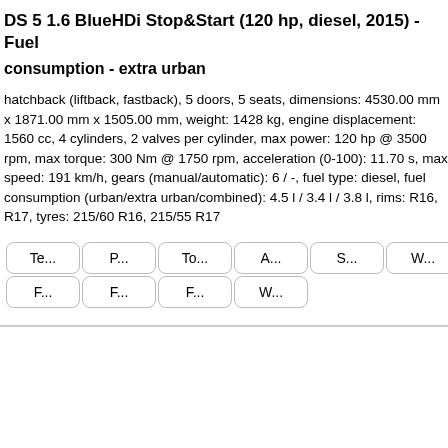DS 5 1.6 BlueHDi Stop&Start (120 hp, diesel, 2015) - Fuel
consumption - extra urban
hatchback (liftback, fastback), 5 doors, 5 seats, dimensions: 4530.00 mm x 1871.00 mm x 1505.00 mm, weight: 1428 kg, engine displacement: 1560 cc, 4 cylinders, 2 valves per cylinder, max power: 120 hp @ 3500 rpm, max torque: 300 Nm @ 1750 rpm, acceleration (0-100): 11.70 s, max speed: 191 km/h, gears (manual/automatic): 6 / -, fuel type: diesel, fuel consumption (urban/extra urban/combined): 4.5 l / 3.4 l / 3.8 l, rims: R16, R17, tyres: 215/60 R16, 215/55 R17
| Te... | P... | To... | A... | S... | W... | Di... |
| --- | --- | --- | --- | --- | --- | --- |
| F... | F... | F... | W... |